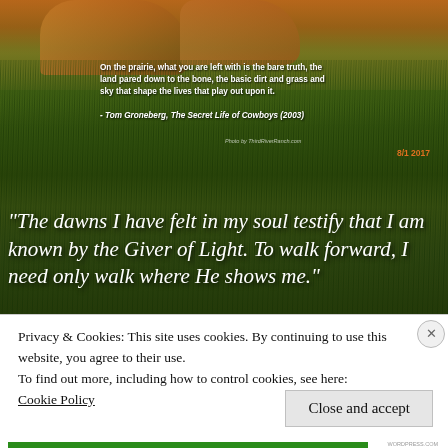[Figure (photo): Photograph of horses standing in a tall green prairie grass field. Two brown/chestnut horses are visible at the top against grass. The lower half shows tall green grass with a dark atmospheric overlay. White text quotes are overlaid on the image.]
On the prairie, what you are left with is the bare truth, the land pared down to the bone, the basic dirt and grass and sky that shape the lives that play out upon it.
- Tom Groneberg, The Secret Life of Cowboys (2003)
"The dawns I have felt in my soul testify that I am known by the Giver of Light. To walk forward, I need only walk where He shows me."
Privacy & Cookies: This site uses cookies. By continuing to use this website, you agree to their use.
To find out more, including how to control cookies, see here:
Cookie Policy
Close and accept